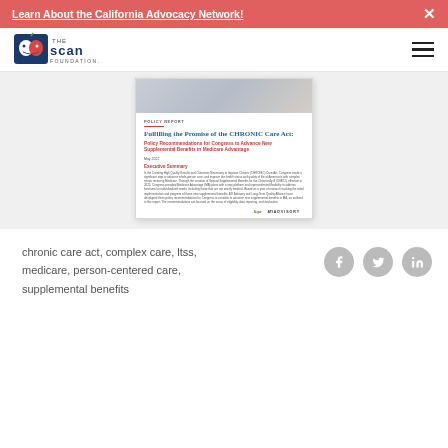Learn About the California Advocacy Network!
[Figure (logo): The SCAN Foundation logo]
[Figure (screenshot): Policy report thumbnail: Fulfilling the Promise of the CHRONIC Care Act: Policy Recommendations for Congress to Advance New Supplemental Benefits in Medicare Advantage. May 2022. Executive Summary text. Logos: ltqa and ATI Advisory.]
chronic care act, complex care, ltss, medicare, person-centered care, supplemental benefits